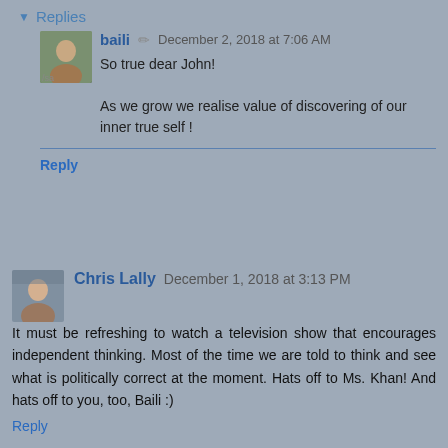Replies
[Figure (photo): Avatar photo of baili, a person outdoors with greenery]
baili ✏ December 2, 2018 at 7:06 AM
So true dear John!

As we grow we realise value of discovering of our inner true self !
Reply
[Figure (photo): Avatar photo of Chris Lally]
Chris Lally December 1, 2018 at 3:13 PM
It must be refreshing to watch a television show that encourages independent thinking. Most of the time we are told to think and see what is politically correct at the moment. Hats off to Ms. Khan! And hats off to you, too, Baili :)
Reply